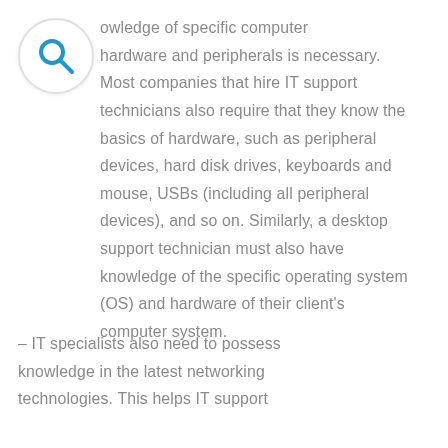[Figure (other): Search icon — circular magnifying glass symbol in blue on white background with light border]
owledge of specific computer hardware and peripherals is necessary. Most companies that hire IT support technicians also require that they know the basics of hardware, such as peripheral devices, hard disk drives, keyboards and mouse, USBs (including all peripheral devices), and so on. Similarly, a desktop support technician must also have knowledge of the specific operating system (OS) and hardware of their client's computer system.
– IT specialists also need to possess knowledge in the latest networking technologies. This helps IT support